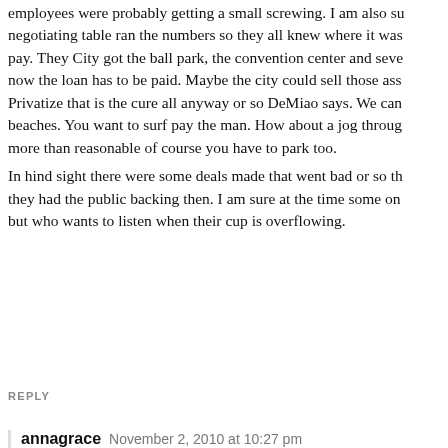employees were probably getting a small screwing. I am also sure negotiating table ran the numbers so they all knew where it was pay. They City got the ball park, the convention center and seve now the loan has to be paid. Maybe the city could sell those ass Privatize that is the cure all anyway or so DeMiao says. We can beaches. You want to surf pay the man. How about a jog throug more than reasonable of course you have to park too.
In hind sight there were some deals made that went bad or so th they had the public backing then. I am sure at the time some on but who wants to listen when their cup is overflowing.
REPLY
annagrace   November 2, 2010 at 10:27 pm
Thank you ss for a quiet, thoughtful discussion about a com appreciate that at the moment. I sense that you have lived in probably remember the horse trading that went on in city ha was mayor and Jack McGrory was city manager. The repub midnight (literally) renovation of the Charger's stadium & t